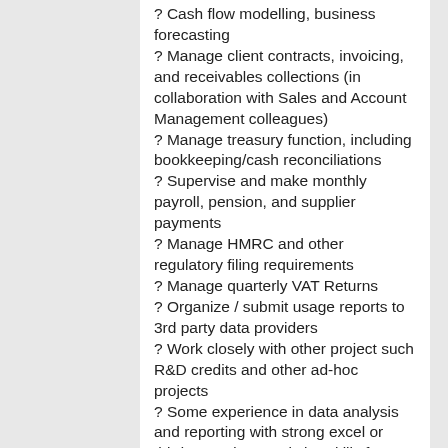? Cash flow modelling, business forecasting
? Manage client contracts, invoicing, and receivables collections (in collaboration with Sales and Account Management colleagues)
? Manage treasury function, including bookkeeping/cash reconciliations
? Supervise and make monthly payroll, pension, and supplier payments
? Manage HMRC and other regulatory filing requirements
? Manage quarterly VAT Returns
? Organize / submit usage reports to 3rd party data providers
? Work closely with other project such R&D credits and other ad-hoc projects
? Some experience in data analysis and reporting with strong excel or third-party data analytics skills for SaaS metric reporting
? Maintain and enhance internal controls to improve performance, profitability, and governance